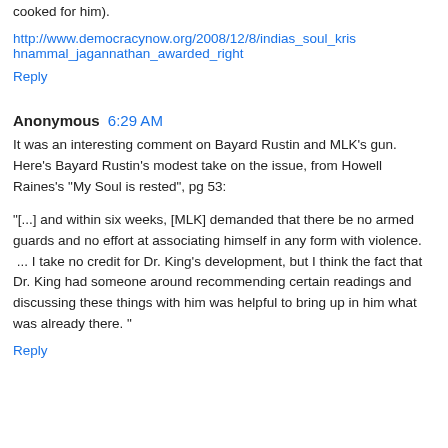cooked for him).
http://www.democracynow.org/2008/12/8/indias_soul_krishnammal_jagannathan_awarded_right
Reply
Anonymous  6:29 AM
It was an interesting comment on Bayard Rustin and MLK's gun. Here's Bayard Rustin's modest take on the issue, from Howell Raines's "My Soul is rested", pg 53:
"[...] and within six weeks, [MLK] demanded that there be no armed guards and no effort at associating himself in any form with violence. ... I take no credit for Dr. King's development, but I think the fact that Dr. King had someone around recommending certain readings and discussing these things with him was helpful to bring up in him what was already there. "
Reply